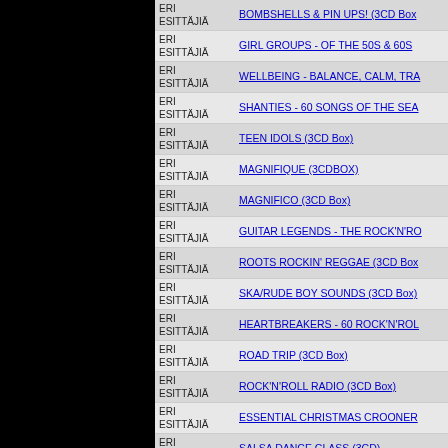| Artist | Album |
| --- | --- |
| ERI ESITTÄJIÄ | BOMBSHELLS & PIN UPS! (3CD Box |
| ERI ESITTÄJIÄ | GIRL GROUPS - OF THE 50S & 60S |
| ERI ESITTÄJIÄ | WELLBEING - BALANCE, CALM, TRA |
| ERI ESITTÄJIÄ | SHANTIES - 60 SONGS OF THE SEA |
| ERI ESITTÄJIÄ | TEEN IDOLS (3CD Box) |
| ERI ESITTÄJIÄ | MAGNIFIQUE (3CDBOX) |
| ERI ESITTÄJIÄ | MAGNIFICO (3CD Box) |
| ERI ESITTÄJIÄ | GUITAR LEGENDS - THE ROCK'N'RO |
| ERI ESITTÄJIÄ | ROOTS ROCKIN' REGGAE (3CD Box |
| ERI ESITTÄJIÄ | SKA/RUDE BOY SOUNDS (3CD Box) |
| ERI ESITTÄJIÄ | HEARTBREAKERS - 60 ROCK'N'ROL |
| ERI ESITTÄJIÄ | ROAD TRIP (3CD Box) |
| ERI ESITTÄJIÄ | ROCK'N'ROLL RADIO (3CD Box) |
| ERI ESITTÄJIÄ | ESSENTIAL CHRISTMAS CROONER |
| ERI ESITTÄJIÄ | SALSA DANCE CLASS (3CD) |
| ERI ESITTÄJIÄ | SALSA NIGHTS (3CD) |
| ERI ESITTÄJIÄ | CUBAN MASTERS (3CD) |
| ERI ESITTÄJIÄ | COUNTRY RADIO (3CD) |